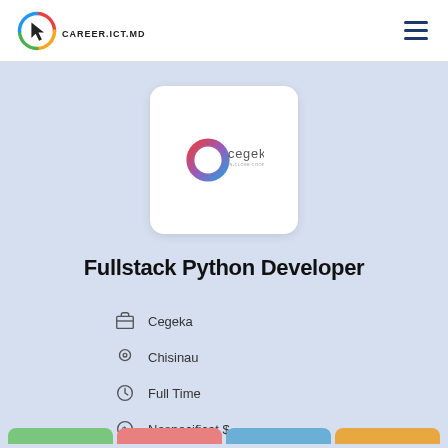CAREER.ICT.MD
[Figure (logo): Cegeka company logo with colorful circular arrow icon and company name]
Fullstack Python Developer
Cegeka
Chisinau
Full Time
Nespecificat $